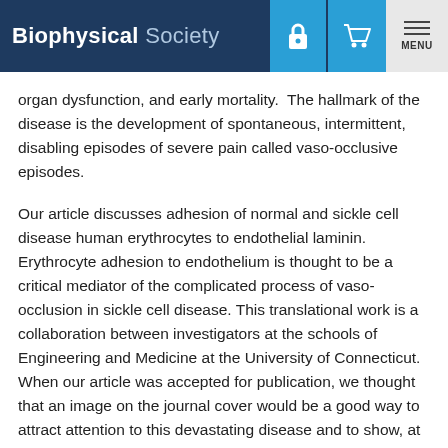Biophysical Society
organ dysfunction, and early mortality.  The hallmark of the disease is the development of spontaneous, intermittent, disabling episodes of severe pain called vaso-occlusive episodes.
Our article discusses adhesion of normal and sickle cell disease human erythrocytes to endothelial laminin.  Erythrocyte adhesion to endothelium is thought to be a critical mediator of the complicated process of vaso-occlusion in sickle cell disease. This translational work is a collaboration between investigators at the schools of Engineering and Medicine at the University of Connecticut.  When our article was accepted for publication, we thought that an image on the journal cover would be a good way to attract attention to this devastating disease and to show, at least partially, the